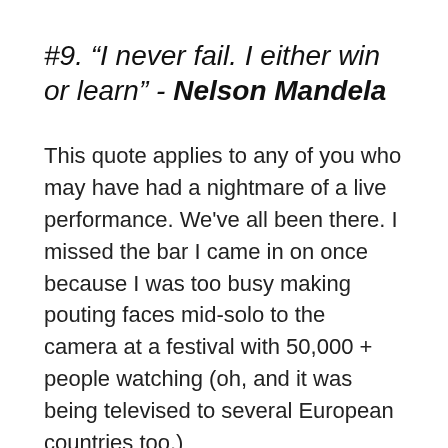#9. “I never fail. I either win or learn” - Nelson Mandela
This quote applies to any of you who may have had a nightmare of a live performance. We've all been there. I missed the bar I came in on once because I was too busy making pouting faces mid-solo to the camera at a festival with 50,000 + people watching (oh, and it was being televised to several European countries too.)
I accepted the...